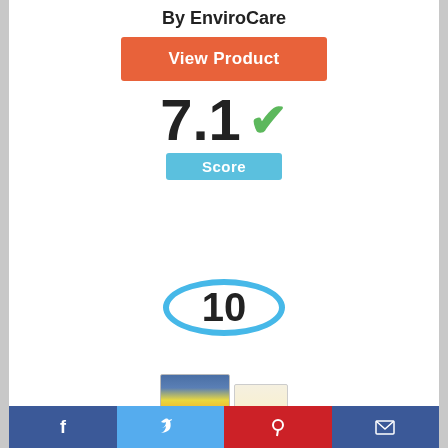By EnviroCare
View Product
7.1 ✓
Score
[Figure (infographic): Circle badge with number 10 inside, outlined with a thick blue ring]
[Figure (photo): Product image of EnviroCare vacuum bags packaging]
Facebook | Twitter | Pinterest | Email social share bar